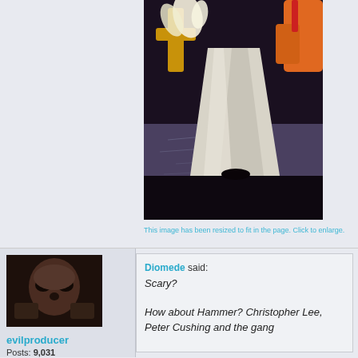[Figure (illustration): Animated/cartoon image showing a funnel or cone shape with gold/yellow decorative elements above a dark surface, appears to be a still from an animated film or show.]
This image has been resized to fit in the page. Click to enlarge.
[Figure (photo): User avatar showing a dark photo of a skull or skull-like mask/artifact being held.]
evilproducer
Posts: 9,031
Diomede said: Scary? How about Hammer? Christopher Lee, Peter Cushing and the gang